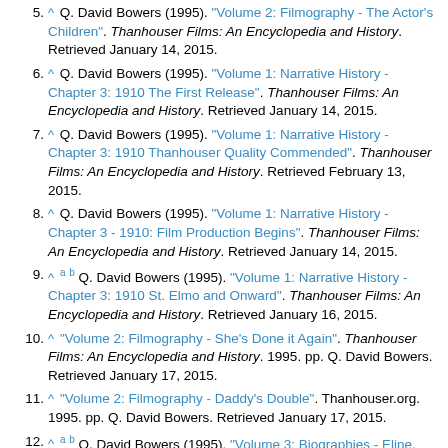5. ^ Q. David Bowers (1995). "Volume 2: Filmography - The Actor's Children". Thanhouser Films: An Encyclopedia and History. Retrieved January 14, 2015.
6. ^ Q. David Bowers (1995). "Volume 1: Narrative History - Chapter 3: 1910 The First Release". Thanhouser Films: An Encyclopedia and History. Retrieved January 14, 2015.
7. ^ Q. David Bowers (1995). "Volume 1: Narrative History - Chapter 3: 1910 Thanhouser Quality Commended". Thanhouser Films: An Encyclopedia and History. Retrieved February 13, 2015.
8. ^ Q. David Bowers (1995). "Volume 1: Narrative History - Chapter 3 - 1910: Film Production Begins". Thanhouser Films: An Encyclopedia and History. Retrieved January 14, 2015.
9. ^ a b Q. David Bowers (1995). "Volume 1: Narrative History - Chapter 3: 1910 St. Elmo and Onward". Thanhouser Films: An Encyclopedia and History. Retrieved January 16, 2015.
10. ^ "Volume 2: Filmography - She's Done it Again". Thanhouser Films: An Encyclopedia and History. 1995. pp. Q. David Bowers. Retrieved January 17, 2015.
11. ^ "Volume 2: Filmography - Daddy's Double". Thanhouser.org. 1995. pp. Q. David Bowers. Retrieved January 17, 2015.
12. ^ a b Q. David Bowers (1995). "Volume 3: Biographies - Eline, Marie". Thanhouser Films: An Encyclopedia and History. Retrieved